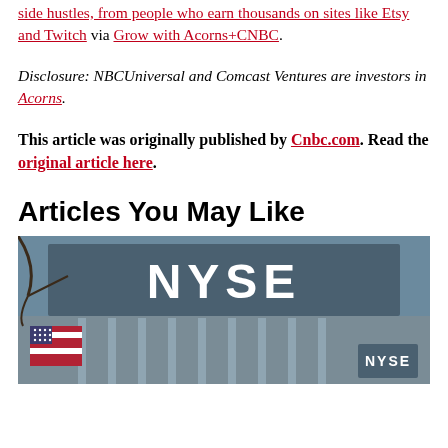side hustles, from people who earn thousands on sites like Etsy and Twitch via Grow with Acorns+CNBC.
Disclosure: NBCUniversal and Comcast Ventures are investors in Acorns.
This article was originally published by Cnbc.com. Read the original article here.
Articles You May Like
[Figure (photo): Photo of the NYSE (New York Stock Exchange) building exterior sign with an American flag visible and NYSE branding, taken from street level looking up.]